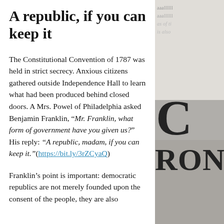A republic, if you can keep it
The Constitutional Convention of 1787 was held in strict secrecy. Anxious citizens gathered outside Independence Hall to learn what had been produced behind closed doors. A Mrs. Powel of Philadelphia asked Benjamin Franklin, “Mr. Franklin, what form of government have you given us?” His reply: “A republic, madam, if you can keep it.”(https://bit.ly/3rZCyaQ)
Franklin’s point is important: democratic republics are not merely founded upon the consent of the people, they are also